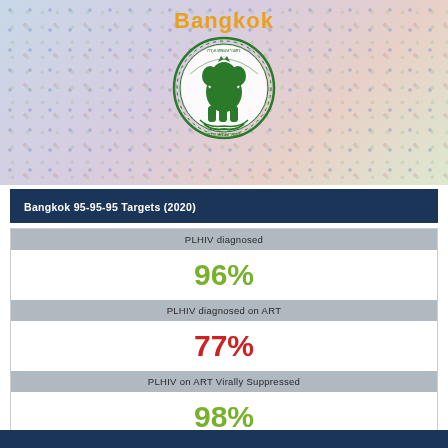Bangkok
[Figure (logo): Bangkok Metropolitan Administration official seal/emblem — green circular seal with elephant figure and Thai text]
Bangkok 95-95-95 Targets (2020)
PLHIV diagnosed
96%
PLHIV diagnosed on ART
77%
PLHIV on ART Virally Suppressed
98%
Note: PLHIV on ART in 2020 is adjusted underreporting based on the special study that conducted by USCDC Thailand in Febuary 2021
Source: AIDS, TB & STIs Control Division, Health Department, BMA; National AIDS Database, NHSO